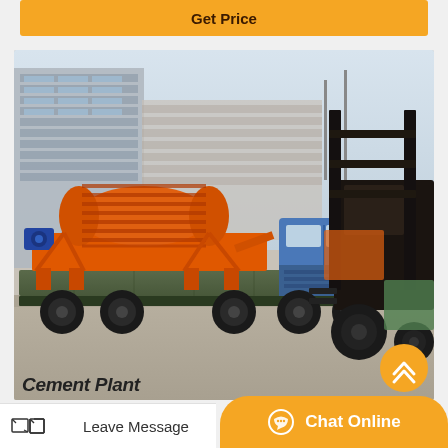Get Price
[Figure (photo): Industrial cement plant equipment (orange drum filter/separator) loaded on a flatbed truck, with a large forklift nearby in an industrial yard, factory buildings in background]
Cement Plant
Leave Message
Chat Online